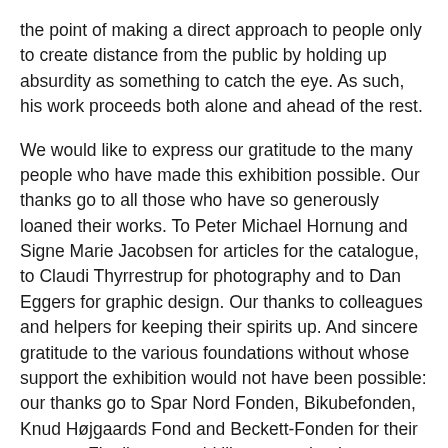the point of making a direct approach to people only to create distance from the public by holding up absurdity as something to catch the eye. As such, his work proceeds both alone and ahead of the rest.
We would like to express our gratitude to the many people who have made this exhibition possible. Our thanks go to all those who have so generously loaned their works. To Peter Michael Hornung and Signe Marie Jacobsen for articles for the catalogue, to Claudi Thyrrestrup for photography and to Dan Eggers for graphic design. Our thanks to colleagues and helpers for keeping their spirits up. And sincere gratitude to the various foundations without whose support the exhibition would not have been possible: our thanks go to Spar Nord Fonden, Bikubefonden, Knud Højgaards Fond and Beckett-Fonden for their support. Finally we would like to say thank you to Lars Nørgård himself: for his tireless energy, his infectious dedication and his art, which delights and surprises us and takes us in new directions.